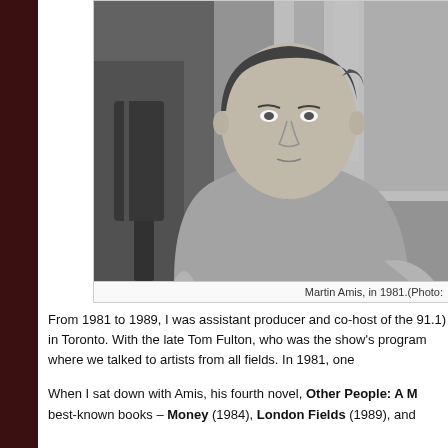[Figure (photo): Black and white photograph of Martin Amis, a young man in a sweater and collared shirt, seated, looking at the camera, taken in 1981.]
Martin Amis, in 1981.(Photo:
From 1981 to 1989, I was assistant producer and co-host of the 91.1) in Toronto. With the late Tom Fulton, who was the show's program where we talked to artists from all fields. In 1981, one
When I sat down with Amis, his fourth novel, Other People: A M best-known books – Money (1984), London Fields (1989), and